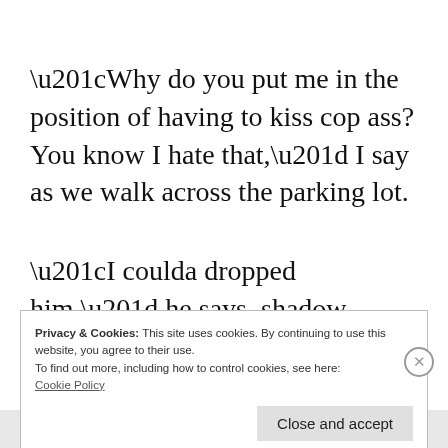“Why do you put me in the position of having to kiss cop ass? You know I hate that,” I say as we walk across the parking lot.
“I coulda dropped him,” he says, shadow boxing.
Privacy & Cookies: This site uses cookies. By continuing to use this website, you agree to their use.
To find out more, including how to control cookies, see here:
Cookie Policy
Close and accept